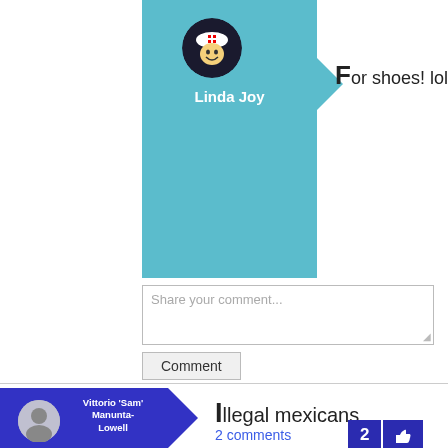[Figure (screenshot): Teal user card for Linda Joy with avatar and arrow pointing right]
For shoes! lol
Share your comment...
Comment
[Figure (screenshot): Blue user card for Vittorio 'Sam' Manunta-Lowell with avatar and arrow pointing right]
Illegal mexicans
2 comments
2